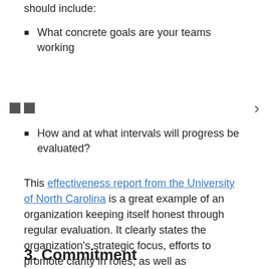should include:
What concrete goals are your teams working
◻◻ >
How and at what intervals will progress be evaluated?
This effectiveness report from the University of North Carolina is a great example of an organization keeping itself honest through regular evaluation. It clearly states the organization's strategic focus, efforts to promote clarity in roles, as well as recommendations for improving general administration organizational design.
3. Commitment